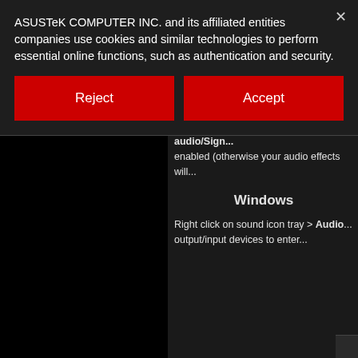ASUSTeK COMPUTER INC. and its affiliated entities companies use cookies and similar technologies to perform essential online functions, such as authentication and security.
Reject
Accept
- Follow scrupulously your CLEAN... - Use this SS3 Cleaner tool (Right c... Volute_SS3_Cleanup.exe" > Run a... your PC. - Follow scrupulously your INSTAL... - For the next drivers packages tha... directly follow your UPDATE proce...
Also, check that the Enhance audio/Sign... enabled (otherwise your audio effects will...
Windows
Right click on sound icon tray > Audio ... output/input devices to enter...